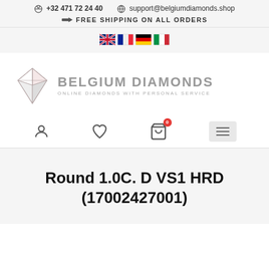+32 471 72 24 40   support@belgiumdiamonds.shop   FREE SHIPPING ON ALL ORDERS
[Figure (illustration): Four country flag icons in a row: UK, France, Germany, Italy]
[Figure (logo): Belgium Diamonds logo with diamond icon and text: BELGIUM DIAMONDS, ONLINE DIAMONDS WITH PERSONAL SERVICE]
[Figure (infographic): Navigation bar icons: user/account icon, heart/wishlist icon, shopping cart with badge showing 0, hamburger menu]
Round 1.0C. D VS1 HRD (17002427001)